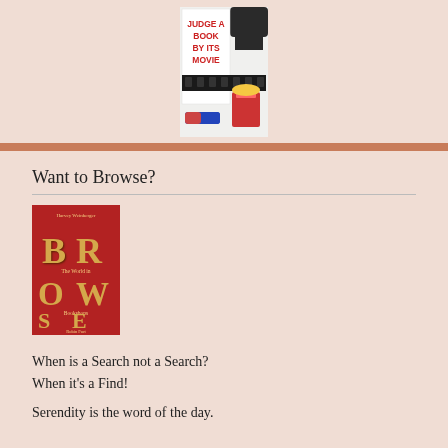[Figure (illustration): Book cover for 'Judge a Book by Its Movie' showing a film strip, popcorn, and 3D glasses]
Want to Browse?
[Figure (illustration): Book cover for 'Browse: The World in Bookshops' with large red background and golden mosaic letters spelling BROWSE]
When is a Search not a Search?
When it's a Find!
Serendity is the word of the day.